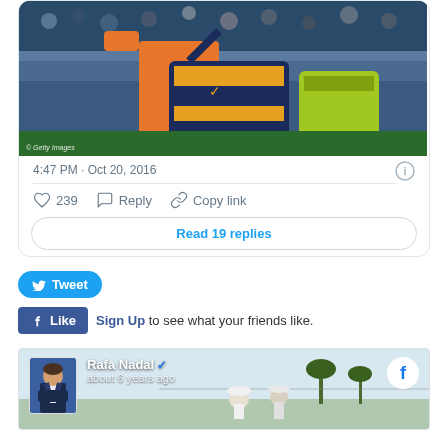[Figure (photo): Photo of Rafael Nadal in orange shirt carrying a navy/yellow tennis bag, with crowd in background. Getty Images watermark visible.]
4:47 PM · Oct 20, 2016
239  Reply  Copy link
Read 19 replies
Tweet
Like  Sign Up to see what your friends like.
[Figure (screenshot): Facebook post card showing Rafa Nadal verified page with profile photo, name, blue checkmark, 'about 6 years ago' timestamp, and Facebook logo. Background shows outdoor tennis court scene.]